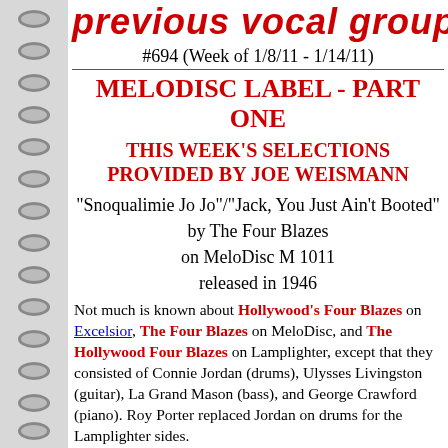previous vocal group record of the
#694 (Week of 1/8/11 - 1/14/11)
MELODISC LABEL - PART ONE
THIS WEEK'S SELECTIONS PROVIDED BY JOE WEISMANN
"Snoqualimie Jo Jo"/"Jack, You Just Ain't Booted" by The Four Blazes on MeloDisc M 1011 released in 1946
Not much is known about Hollywood's Four Blazes on Excelsior, The Four Blazes on MeloDisc, and The Hollywood Four Blazes on Lamplighter, except that they consisted of Connie Jordan (drums), Ulysses Livingston (guitar), La Grand Mason (bass), and George Crawford (piano). Roy Porter replaced Jordan on drums for the Lamplighter sides.